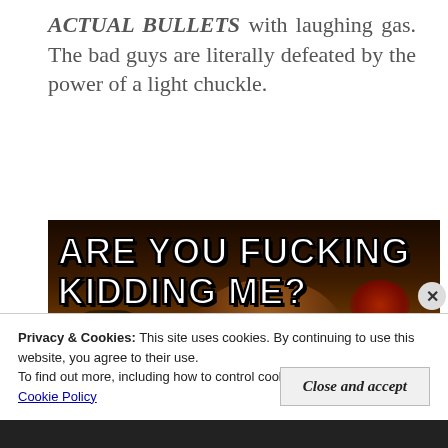ACTUAL BULLETS with laughing gas. The bad guys are literally defeated by the power of a light chuckle.
[Figure (photo): Meme image with dark background showing two people, with bold white Impact-font text reading 'ARE YOU FUCKING KIDDING ME?']
Privacy & Cookies: This site uses cookies. By continuing to use this website, you agree to their use.
To find out more, including how to control cookies, see here:
Cookie Policy